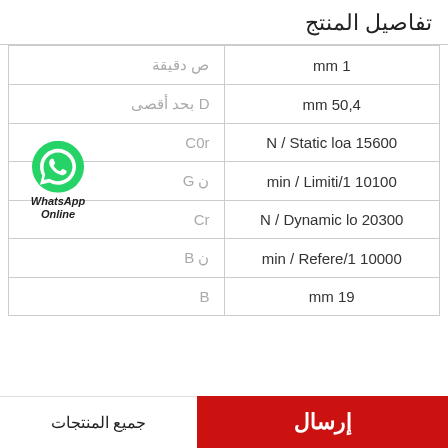تفاصيل المنتج
| الخاصية | القيمة |
| --- | --- |
| ص دقيقة | 1 mm |
| D بحد أقصى | 50,4 mm |
| C0r | 15600 Static loa N / |
| ن G | 10100 Limiti/1 min / |
| Cr | 20300 Dynamic lo N / |
| ن B | 10000 Refere/1 min / |
| B | 19 mm |
إرسال | جميع المنتجات